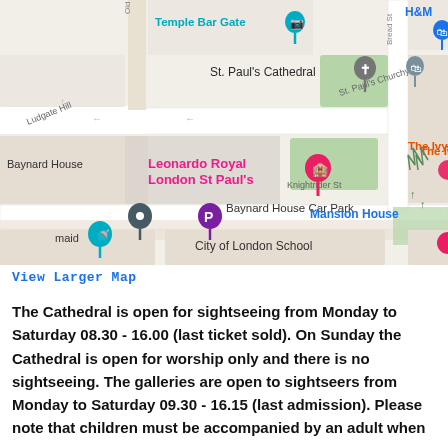[Figure (map): Google Maps screenshot showing St. Paul's Cathedral area in London. Landmarks visible include Temple Bar Gate, St. Paul's Cathedral, One New Change, H&M, The Ivy Asia St Paul's, Leonardo Royal London St Paul's, Baynard House, Baynard House Car Park, Knightrider St, Mansion House, City of London School, and a Maid Marian marker.]
View Larger Map
The Cathedral is open for sightseeing from Monday to Saturday 08.30 - 16.00 (last ticket sold). On Sunday the Cathedral is open for worship only and there is no sightseeing.  The galleries are open to sightseers from Monday to Saturday 09.30 - 16.15 (last admission). Please note that children must be accompanied by an adult when visiting the galleries. For directions, use the map above.